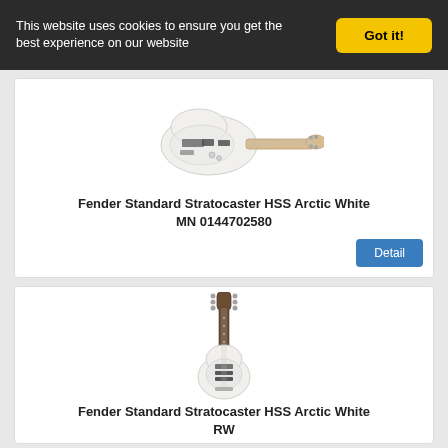This website uses cookies to ensure you get the best experience on our website
Got it!
[Figure (illustration): Fender Standard Stratocaster HSS Arctic White electric guitar, horizontal orientation, maple neck]
Fender Standard Stratocaster HSS Arctic White MN 0144702580
Detail
[Figure (illustration): Fender Standard Stratocaster HSS Arctic White RW electric guitar, vertical orientation, rosewood neck]
Fender Standard Stratocaster HSS Arctic White RW